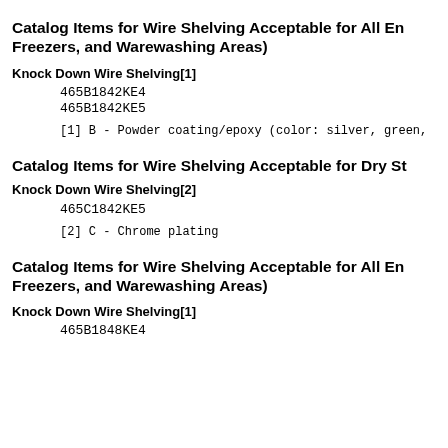Catalog Items for Wire Shelving Acceptable for All Environments (Walk-in Coolers, Freezers, and Warewashing Areas)
Knock Down Wire Shelving[1]
465B1842KE4
465B1842KE5
[1] B - Powder coating/epoxy (color: silver, green,
Catalog Items for Wire Shelving Acceptable for Dry Storage
Knock Down Wire Shelving[2]
465C1842KE5
[2] C - Chrome plating
Catalog Items for Wire Shelving Acceptable for All Environments (Walk-in Coolers, Freezers, and Warewashing Areas)
Knock Down Wire Shelving[1]
465B1848KE4